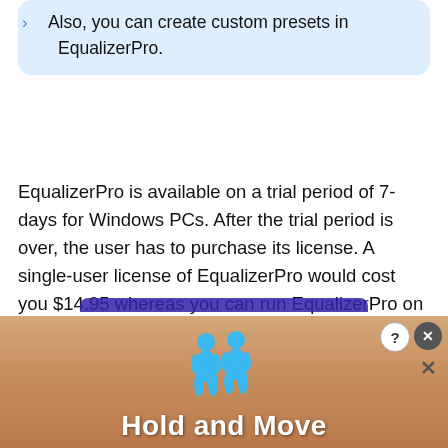Also, you can create custom presets in EqualizerPro.
EqualizerPro is available on a trial period of 7-days for Windows PCs. After the trial period is over, the user has to purchase its license. A single-user license of EqualizerPro would cost you $14.95 whereas you can run EqualizerPro on up to 5 computers for $49.95.
[Figure (screenshot): Advertisement banner at the bottom showing two blue figures with text 'Hold and Move' on a wooden background, with close and help buttons in top right corner.]